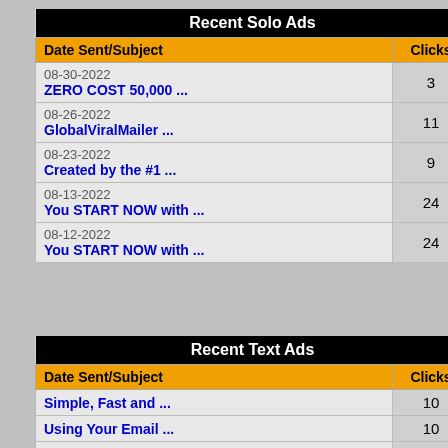| Date Sent/Subject | Clicks |
| --- | --- |
| 08-30-2022
ZERO COST 50,000 ... | 3 |
| 08-26-2022
GlobalViralMailer ... | 11 |
| 08-23-2022
Created by the #1 ... | 9 |
| 08-13-2022
You START NOW with ... | 24 |
| 08-12-2022
You START NOW with ... | 24 |
| Date Sent/Subject | Clicks |
| --- | --- |
| Simple, Fast and ... | 10 |
| Using Your Email ... | 10 |
| Ruby Solos to ... | 10 |
| The #1 Internet ... | 10 |
| 5 Banners Unlimited ... | 9 |
SoloAdsWork Promo Codes
| Membership Prices | PRO | JV |
| --- | --- | --- |
| ... | FREE | ... |